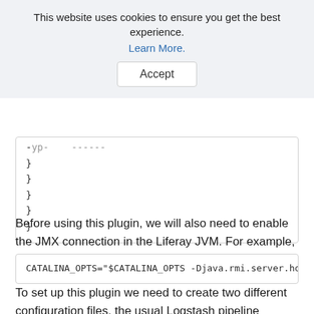This website uses cookies to ensure you get the best experience. Learn More.
Accept
-type: ------
}
}
}
}
}'
Before using this plugin, we will also need to enable the JMX connection in the Liferay JVM. For example, if running on Tomcat, we can add this on the setenv.sh:
CATALINA_OPTS="$CATALINA_OPTS -Djava.rmi.server.hostn
To set up this plugin we need to create two different configuration files, the usual Logstash pipeline